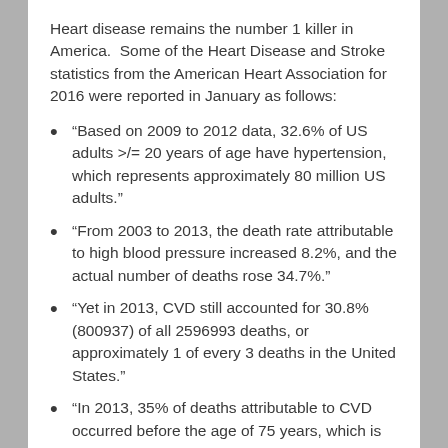Heart disease remains the number 1 killer in America. Some of the Heart Disease and Stroke statistics from the American Heart Association for 2016 were reported in January as follows:
“Based on 2009 to 2012 data, 32.6% of US adults >/= 20 years of age have hypertension, which represents approximately 80 million US adults.”
“From 2003 to 2013, the death rate attributable to high blood pressure increased 8.2%, and the actual number of deaths rose 34.7%.”
“Yet in 2013, CVD still accounted for 30.8% (800937) of all 2596993 deaths, or approximately 1 of every 3 deaths in the United States.”
“In 2013, 35% of deaths attributable to CVD occurred before the age of 75 years, which is